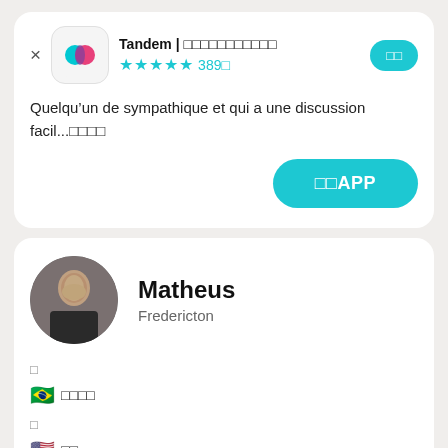Tandem | □□□□□□□□□□□
★★★★★ 389□
□□
Quelqu’un de sympathique et qui a une discussion facil...□□□□
□□APP
Matheus
Fredericton
□
□□□□
□
□□